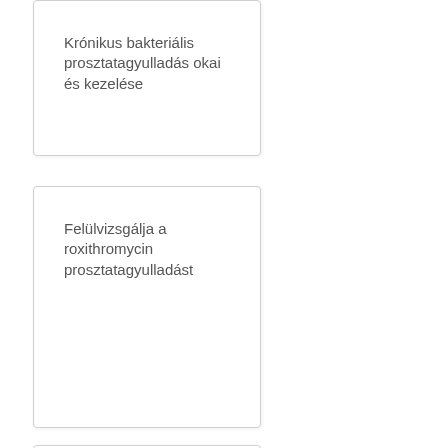Krónikus bakteriális prosztatagyulladás okai és kezelése
Felülvizsgálja a roxithromycin prosztatagyulladást
Hogy ne sérüljön egy prosztata